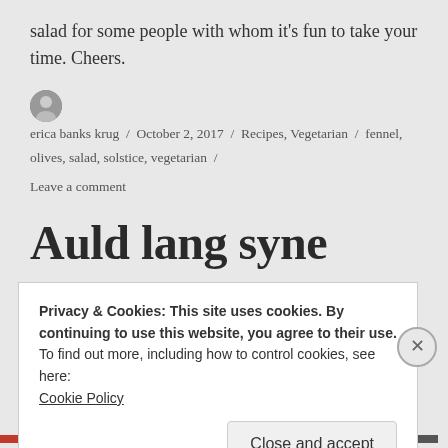salad for some people with whom it's fun to take your time. Cheers.
erica banks krug / October 2, 2017 / Recipes, Vegetarian / fennel, olives, salad, solstice, vegetarian / Leave a comment
Auld lang syne
Privacy & Cookies: This site uses cookies. By continuing to use this website, you agree to their use.
To find out more, including how to control cookies, see here:
Cookie Policy
Close and accept